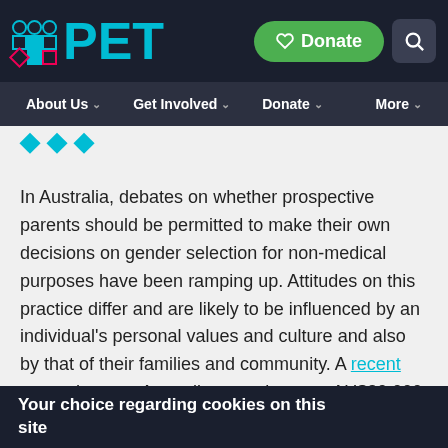PET — Donate | Search
About Us | Get Involved | Donate | More
In Australia, debates on whether prospective parents should be permitted to make their own decisions on gender selection for non-medical purposes have been ramping up. Attitudes on this practice differ and are likely to be influenced by an individual's personal values and culture and also by that of their families and community. A recent case where an Australian couple spent AU$20,000 to go to the USA to choose the gender and eye colour of their babies through IVF has reignited
Your choice regarding cookies on this site